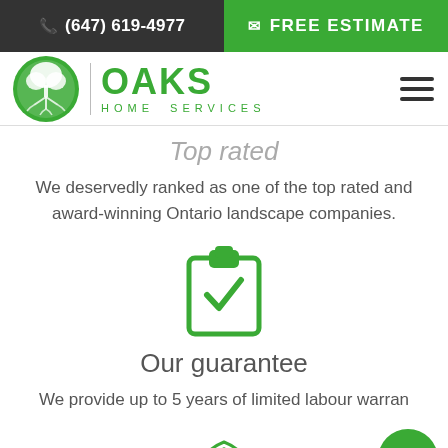☎ (647) 619-4977 | ✉ FREE ESTIMATE
[Figure (logo): Oaks Home Services logo — green circular tree icon with roots, vertical divider, OAKS in large green text, HOME SERVICES in smaller green spaced letters]
Top rated
We deservedly ranked as one of the top rated and award-winning Ontario landscape companies.
[Figure (illustration): Green clipboard icon with a checkmark]
Our guarantee
We provide up to 5 years of limited labour warran
[Figure (illustration): Bottom of page: partial green flag/award icon visible, and green circular phone call button in bottom right corner]